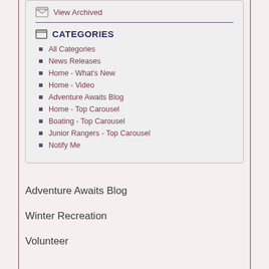View Archived
CATEGORIES
All Categories
News Releases
Home - What's New
Home - Video
Adventure Awaits Blog
Home - Top Carousel
Boating - Top Carousel
Junior Rangers - Top Carousel
Notify Me
Adventure Awaits Blog
Winter Recreation
Volunteer